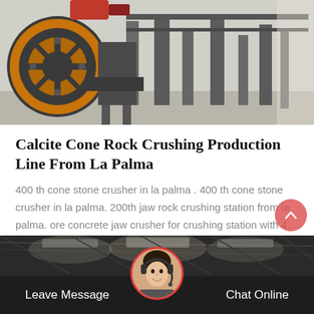[Figure (photo): Industrial rock crushing machinery with orange flywheel and metal frame in a factory setting]
Calcite Cone Rock Crushing Production Line From La Palma
400 th cone stone crusher in la palma . 400 th cone stone crusher in la palma. 200th jaw rock crushing station from la palma. ore concrete jaw crusher for crushing station with 4…
Get Price
[Figure (photo): Dark industrial factory hall interior used as background for the bottom contact bar]
Leave Message
Chat Online